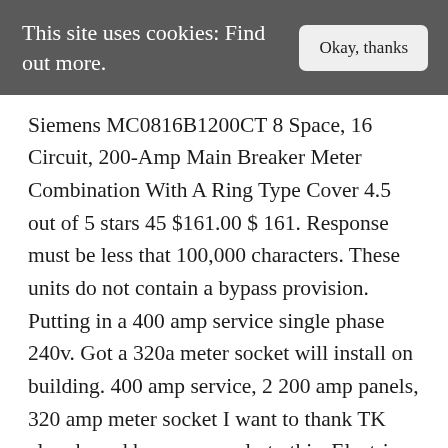This site uses cookies: Find out more.
Okay, thanks
Siemens MC0816B1200CT 8 Space, 16 Circuit, 200-Amp Main Breaker Meter Combination With A Ring Type Cover 4.5 out of 5 stars 45 $161.00 $ 161. Response must be less that 100,000 characters. These units do not contain a bypass provision. Putting in a 400 amp service single phase 240v. Got a 320a meter socket will install on building. 400 amp service, 2 200 amp panels, 320 amp meter socket I want to thank TK already and hope you reply to this. Electric Meter Enclosures and Accessories Approved for Use in the PSEG LI Service Area All Units Must Bear